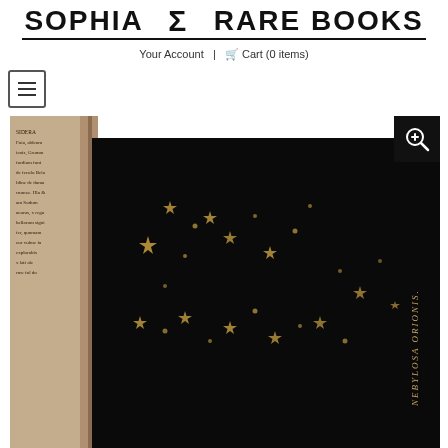[Figure (logo): Sophia Rare Books logo with sigma symbol and horizontal rule]
Your Account  |  🛒 Cart (0 items)
[Figure (photo): Photo of an open antique book showing a black page with scattered gold stars and the text NEBYLOSA ORIONIS in italic lettering along the right edge, with visible Latin text on the left page margin]